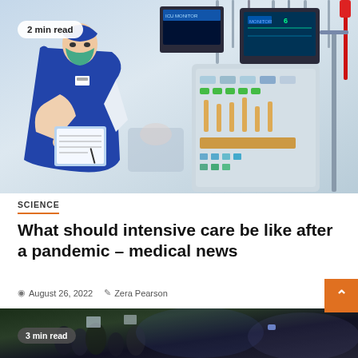[Figure (photo): Nurse in blue scrubs and surgical mask writing on a clipboard in an ICU, with medical monitoring equipment in the background. Badge reads '2 min read' in top left corner.]
SCIENCE
What should intensive care be like after a pandemic – medical news
August 26, 2022   Zera Pearson
[Figure (photo): Partial bottom image strip showing a crowd scene outdoors, partially visible. Badge reads '3 min read'.]